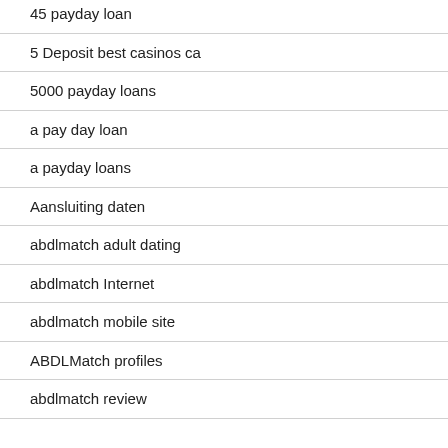45 payday loan
5 Deposit best casinos ca
5000 payday loans
a pay day loan
a payday loans
Aansluiting daten
abdlmatch adult dating
abdlmatch Internet
abdlmatch mobile site
ABDLMatch profiles
abdlmatch review